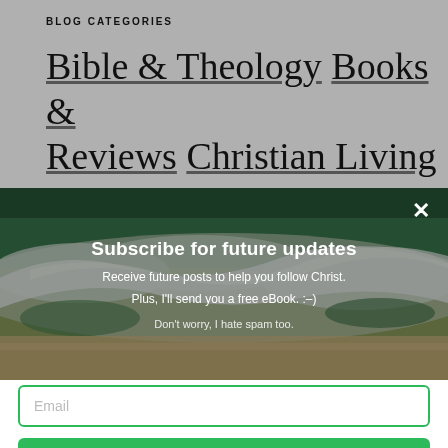BLOG CATEGORIES
Bible & Theology Books & Reviews Christian Living
[Figure (photo): Aerial view of ocean waves with green and white foam crashing on a sandy beach]
Subscribe for future updates
Receive future posts to help you follow Christ.
Plus, I'll send you a free eBook. :–)
Don't worry, I hate spam too.
Email
SUBSCRIBE